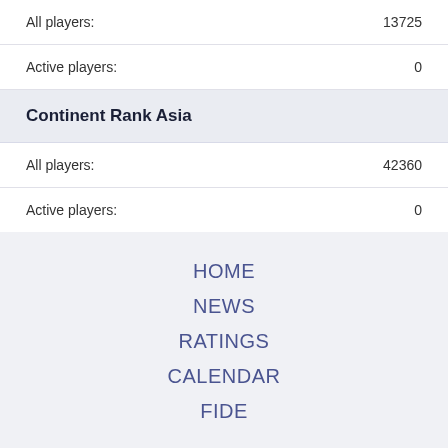All players: 13725
Active players: 0
Continent Rank Asia
All players: 42360
Active players: 0
HOME
NEWS
RATINGS
CALENDAR
FIDE